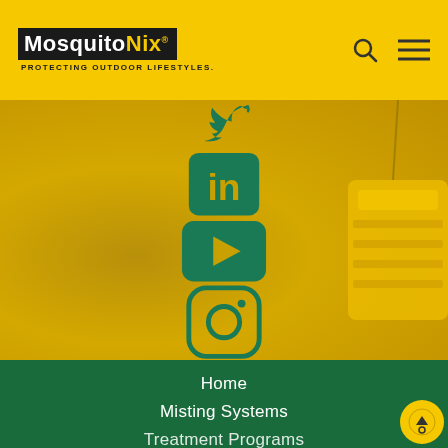[Figure (logo): MosquitoNix logo with tagline 'PROTECTING OUTDOOR LIFESTYLES.' on yellow header bar]
[Figure (infographic): Social media icons (Twitter/X, LinkedIn, YouTube, Instagram) displayed vertically centered on a yellow/golden background with a partially visible yellow swing on the right]
Home
Misting Systems
Treatment Programs